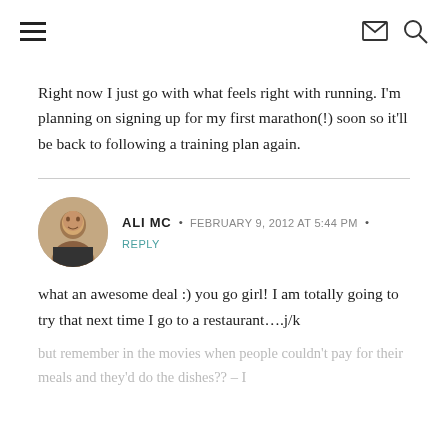≡  ✉  🔍
Right now I just go with what feels right with running. I'm planning on signing up for my first marathon(!) soon so it'll be back to following a training plan again.
ALI MC  •  FEBRUARY 9, 2012 AT 5:44 PM  •  REPLY
what an awesome deal :) you go girl! I am totally going to try that next time I go to a restaurant….j/k
but remember in the movies when people couldn't pay for their meals and they'd do the dishes?? – I